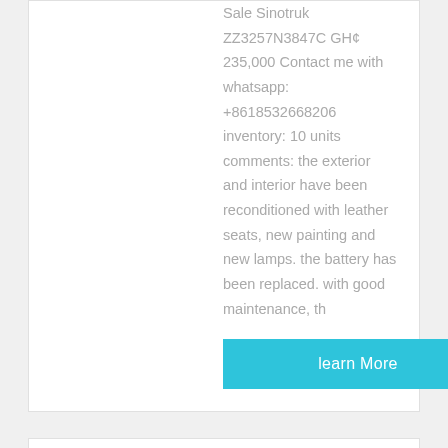Sale Sinotruk ZZ3257N3847C GH¢ 235,000 Contact me with whatsapp: +8618532668206 inventory: 10 units comments: the exterior and interior have been reconditioned with leather seats, new painting and new lamps. the battery has been replaced. with good maintenance, th
learn More
[Figure (photo): Photo of a white HOWO 6x4 dump truck/tractor parked outdoors with trees in background]
HOWO 6*4 Used Dump Truck - highertrucks.com
No Fisher 6*4 Used High Quality...